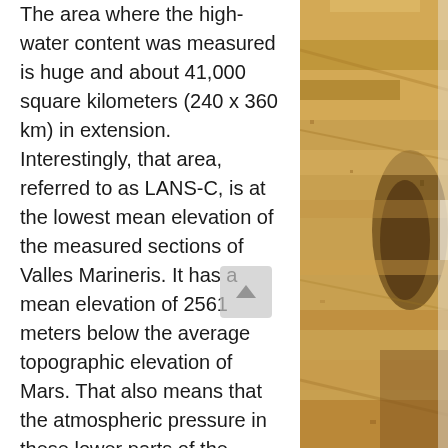The area where the high-water content was measured is huge and about 41,000 square kilometers (240 x 360 km) in extension. Interestingly, that area, referred to as LANS-C, is at the lowest mean elevation of the measured sections of Valles Marineris. It has a mean elevation of 2561 meters below the average topographic elevation of Mars. That also means that the atmospheric pressure in these lower parts of the canyon is well above the triple point of water, making it likely that some of the detected water is liquid.
Liquid water is, of course, essential for life, and thus I think that this part of Valles Marineris should be considered a potential habitat for life and explored
[Figure (photo): Close-up photograph of rocky/sandy Martian-like terrain with golden-brown and amber tones, showing layers and textures of rock or sediment]